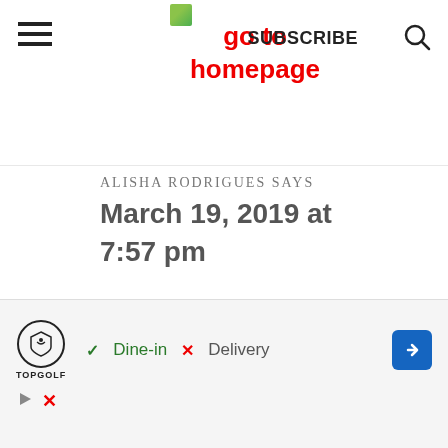go to homepage | SUBSCRIBE
ALISHA RODRIGUES SAYS
March 19, 2019 at 7:57 pm
Oh wow !! You have all the more reason to bake some for her
[Figure (screenshot): Advertisement banner for TopGolf showing Dine-in (checked) and Delivery (crossed out) options with navigation arrow]